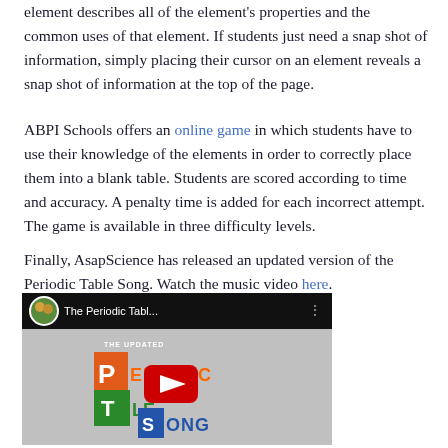element describes all of the element's properties and the common uses of that element. If students just need a snap shot of information, simply placing their cursor on an element reveals a snap shot of information at the top of the page.
ABPI Schools offers an online game in which students have to use their knowledge of the elements in order to correctly place them into a blank table. Students are scored according to time and accuracy. A penalty time is added for each incorrect attempt. The game is available in three difficulty levels.
Finally, AsapScience has released an updated version of the Periodic Table Song. Watch the music video here.
[Figure (screenshot): YouTube video thumbnail for 'The Periodic Table Song' by AsapScience (The Updated version), showing a YouTube play button overlay over colorful letter blocks spelling out PERIODIC TABLE SONG.]